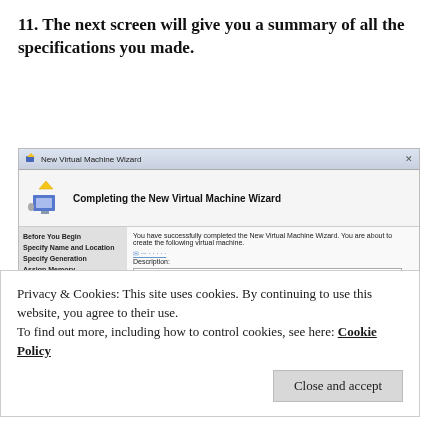11. The next screen will give you a summary of all the specifications you made.
[Figure (screenshot): Screenshot of the 'New Virtual Machine Wizard' dialog box showing 'Completing the New Virtual Machine Wizard' with a sidebar listing steps (Before You Begin, Specify Name and Location, Specify Generation, Assign Memory, Configure Networking) and a content area with completion message and a description table showing Name: Win2k16, Generation: Generation 1, Memory: 4096 MB]
Privacy & Cookies: This site uses cookies. By continuing to use this website, you agree to their use.
To find out more, including how to control cookies, see here: Cookie Policy
Close and accept